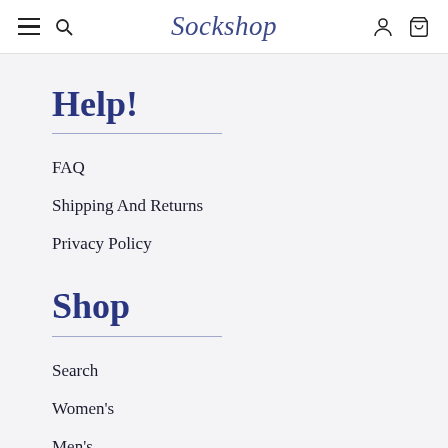Sockshop — navigation header with hamburger menu, search, account, and cart icons
Help!
FAQ
Shipping And Returns
Privacy Policy
Shop
Search
Women's
Men's